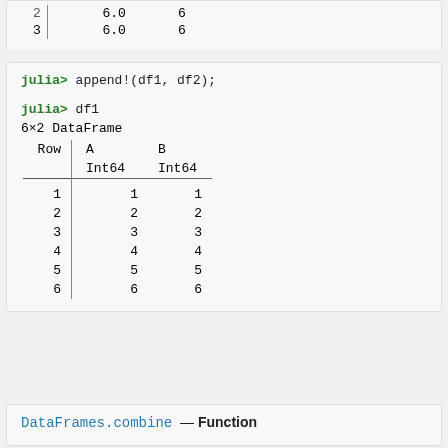|  |  | 6.0 | 6 |
| --- | --- | --- | --- |
| 3 | | | 6.0 | 6 |
julia> append!(df1, df2);
julia> df1
6×2 DataFrame
| Row | A | B |  | Int64 | Int64 |
| --- | --- | --- | --- | --- | --- |
| 1 | | | 1 | 1 |
| 2 | | | 2 | 2 |
| 3 | | | 3 | 3 |
| 4 | | | 4 | 4 |
| 5 | | | 5 | 5 |
| 6 | | | 6 | 6 |
DataFrames.combine — Function